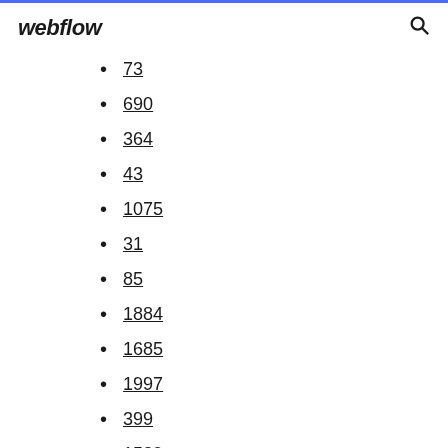webflow
73
690
364
43
1075
31
85
1884
1685
1997
399
1539
1330